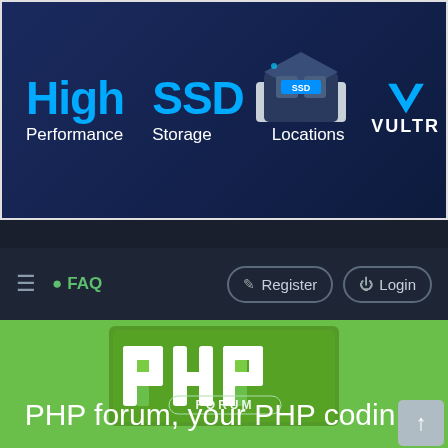[Figure (infographic): Vultr advertisement banner: 'High Performance SSD Storage 23 Locations' with a 3D SSD chip illustration and Vultr logo on dark blue background]
≡  ❓ FAQ     Register   Login
[Figure (logo): PHP Forum logo: white stylized 'PHP' letters with 'FORUM' text on a green and dark background]
PHP forum, your PHP coding community